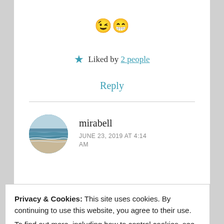😉😁
★ Liked by 2 people
Reply
[Figure (photo): Circular avatar of user mirabell showing a seascape with ocean waves and horizon]
mirabell
JUNE 23, 2019 AT 4:14 AM
Privacy & Cookies: This site uses cookies. By continuing to use this website, you agree to their use. To find out more, including how to control cookies, see here: Cookie Policy
Close and accept